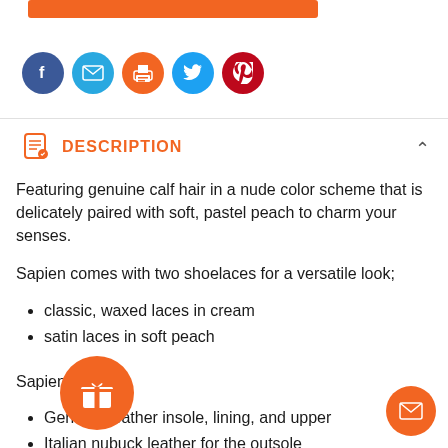[Figure (other): Orange horizontal bar at top of page]
[Figure (other): Row of 5 social media icon circles: Facebook (dark blue), Email (light blue), Print (orange), Twitter (light blue), Pinterest (dark red)]
DESCRIPTION
Featuring genuine calf hair in a nude color scheme that is delicately paired with soft, pastel peach to charm your senses.
Sapien comes with two shoelaces for a versatile look;
classic, waxed laces in cream
satin laces in soft peach
Sapien features;
Genuine leather insole, lining, and upper
Italian nubuck leather for the outsole